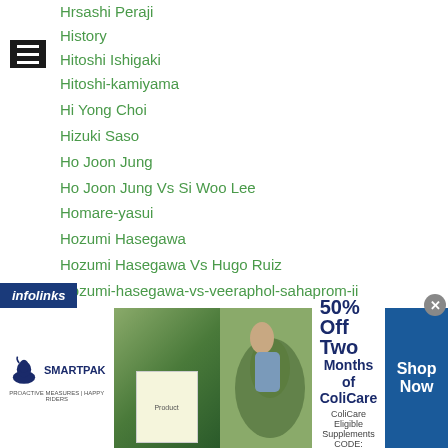Hrsashi Peraji
History
Hitoshi Ishigaki
Hitoshi-kamiyama
Hi Yong Choi
Hizuki Saso
Ho Joon Jung
Ho Joon Jung Vs Si Woo Lee
Homare-yasui
Hozumi Hasegawa
Hozumi Hasegawa Vs Hugo Ruiz
Hozumi-hasegawa-vs-veeraphol-sahaprom-ii
Hurricane Futa
Hurricane Futa Vs Vage Sarukhanyan
Hurricane Futa Vs Will Tomlinson
Hurshidbek-normatov
[Figure (screenshot): Advertisement banner for SmartPak with ColiCare offer: 50% Off Two Months of ColiCare, ColiCare Eligible Supplements, CODE: COLICARE10. Shop Now button on right. Infolinks label at top left of banner.]